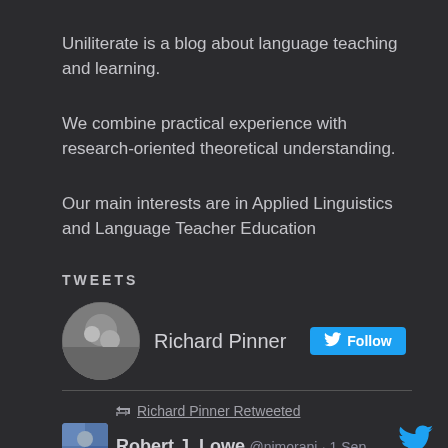Uniliterate is a blog about language teaching and learning.
We combine practical experience with research-oriented theoretical understanding.
Our main interests are in Applied Linguistics and Language Teacher Education
TWEETS
Richard Pinner [Follow button]
Richard Pinner Retweeted
Robert J. Lowe @nimorapi · 1 Sep